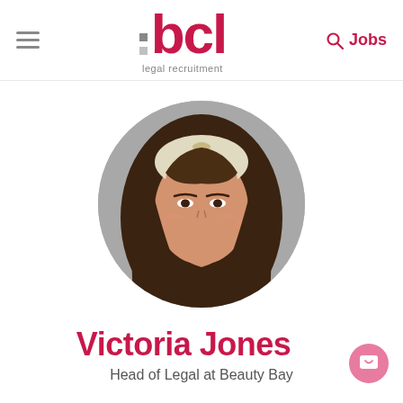[Figure (logo): BCL Legal Recruitment logo with pink/red lettering and grey squares accent, plus hamburger menu icon and search/Jobs link]
[Figure (photo): Circular profile photo of Victoria Jones, a woman with long straight brown hair with highlights, light makeup, light background]
Victoria Jones
Head of Legal at Beauty Bay